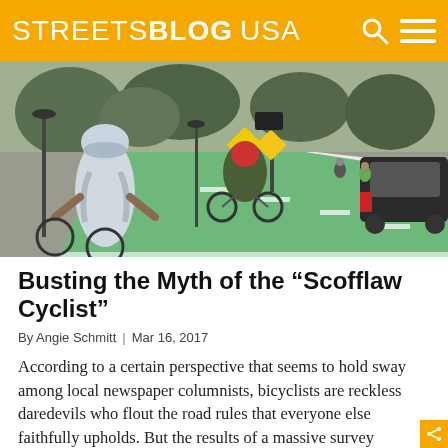STREETSBLOG USA
[Figure (photo): Cyclists riding in a green protected bike lane on an urban street, viewed from behind. A woman in a white top with a backpack and cycling helmet is in the foreground, with other cyclists and cars visible further down the lane. Trees line the street and pedestrian crossing signs are visible.]
Busting the Myth of the “Scofflaw Cyclist”
By Angie Schmitt | Mar 16, 2017
According to a certain perspective that seems to hold sway among local newspaper columnists, bicyclists are reckless daredevils who flout the road rules that everyone else faithfully upholds. But the results of a massive survey